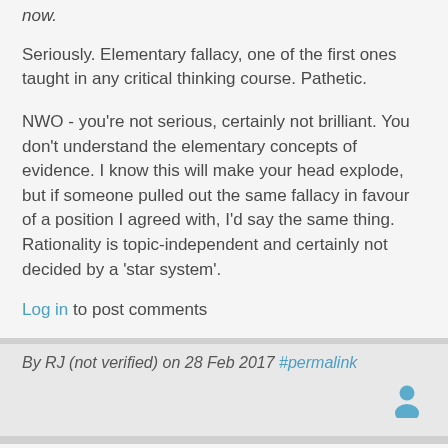now.
Seriously. Elementary fallacy, one of the first ones taught in any critical thinking course. Pathetic.
NWO - you're not serious, certainly not brilliant. You don't understand the elementary concepts of evidence. I know this will make your head explode, but if someone pulled out the same fallacy in favour of a position I agreed with, I'd say the same thing. Rationality is topic-independent and certainly not decided by a 'star system'.
Log in to post comments
By RJ (not verified) on 28 Feb 2017 #permalink
I don't recall saying, or even implying, that the fact a famous and brilliant scientist said something is actionable evidence--and can't